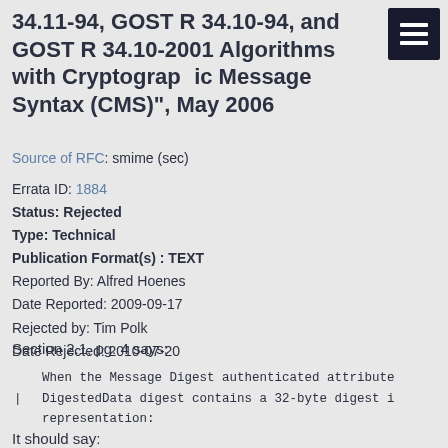34.11-94, GOST R 34.10-94, and GOST R 34.10-2001 Algorithms with Cryptographic Message Syntax (CMS)", May 2006
Source of RFC: smime (sec)
Errata ID: 1884
Status: Rejected
Type: Technical
Publication Format(s) : TEXT
Reported By: Alfred Hoenes
Date Reported: 2009-09-17
Rejected by: Tim Polk
Date Rejected: 2010-07-20
Section 2.1, pg. 4 says:
When the Message Digest authenticated attribute
DigestedData digest contains a 32-byte digest i
representation:
It should say:
When the Message Digest authenticated attribute